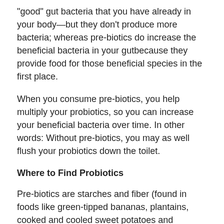“good” gut bacteria that you have already in your body—but they don’t produce more bacteria; whereas pre-biotics do increase the beneficial bacteria in your gutbecause they provide food for those beneficial species in the first place.
When you consume pre-biotics, you help multiply your probiotics, so you can increase your beneficial bacteria over time. In other words: Without pre-biotics, you may as well flush your probiotics down the toilet.
Where to Find Probiotics
Pre-biotics are starches and fiber (found in foods like green-tipped bananas, plantains, cooked and cooled sweet potatoes and squashes, onions, leeks and powders)—that serve as food for your probiotics.
The bottom line: Chances are, the probiotic from your local Kroger or CVS are all they are cracked up to be—even